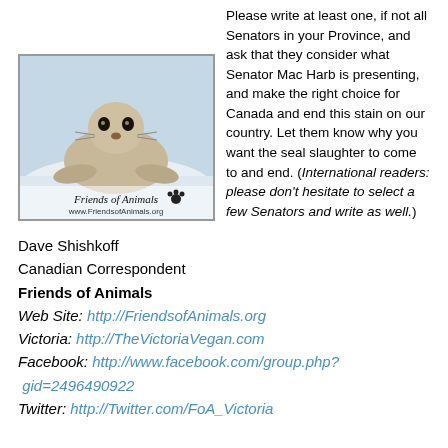[Figure (photo): Photo of a baby harp seal on ice with 'Friends of Animals' logo and www.FriendsofAnimals.org text overlay]
Please write at least one, if not all Senators in your Province, and ask that they consider what Senator Mac Harb is presenting, and make the right choice for Canada and end this stain on our country. Let them know why you want the seal slaughter to come to and end. (International readers: please don't hesitate to select a few Senators and write as well.)
Dave Shishkoff
Canadian Correspondent
Friends of Animals
Web Site: http://FriendsofAnimals.org
Victoria: http://TheVictoriaVegan.com
Facebook: http://www.facebook.com/group.php?gid=2496490922
Twitter: http://Twitter.com/FoA_Victoria